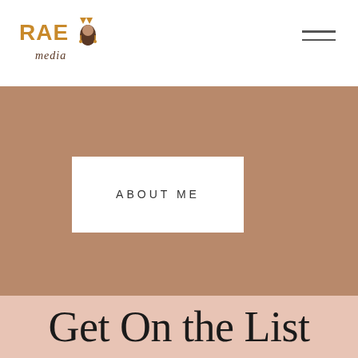[Figure (logo): RAE media logo with stylized text and face illustration in orange/gold and brown tones]
[Figure (other): Hamburger menu icon — two horizontal parallel lines]
[Figure (other): Large brown/tan background section]
ABOUT ME
Get On the List